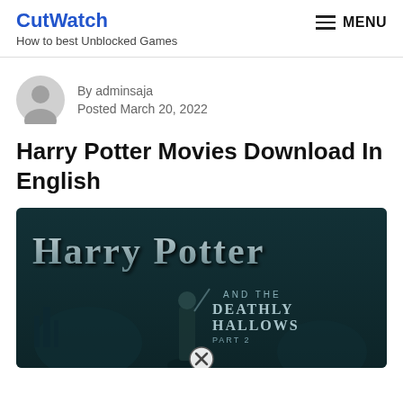CutWatch
How to best Unblocked Games
MENU
By adminsaja
Posted March 20, 2022
Harry Potter Movies Download In English
[Figure (photo): Harry Potter and the Deathly Hallows Part 2 movie poster with dark teal/grey tones, showing title text in stylized font and a figure with a wand, with a close button (X) overlaid at the bottom center]